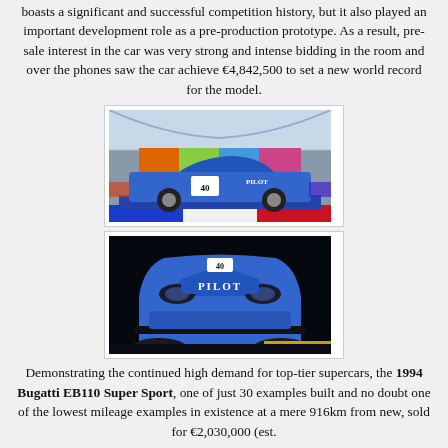boasts a significant and successful competition history, but it also played an important development role as a pre-production prototype. As a result, pre-sale interest in the car was very strong and intense bidding in the room and over the phones saw the car achieve €4,842,500 to set a new world record for the model.
[Figure (photo): Side view of a blue racing car with number 40 and PILOT livery displayed on a platform in a large hall]
[Figure (photo): Front view of a blue racing car with PILOT branding against a dark background]
Demonstrating the continued high demand for top-tier supercars, the 1994 Bugatti EB110 Super Sport, one of just 30 examples built and no doubt one of the lowest mileage examples in existence at a mere 916km from new, sold for €2,030,000 (est.